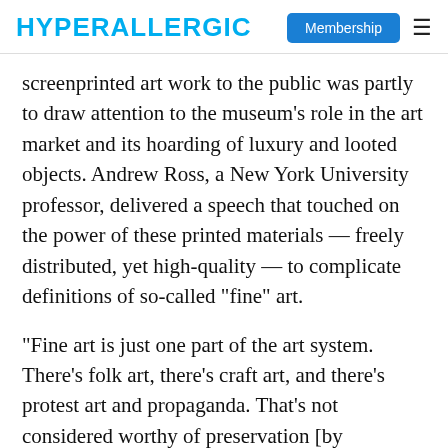HYPERALLERGIC | Membership
screenprinted art work to the public was partly to draw attention to the museum’s role in the art market and its hoarding of luxury and looted objects. Andrew Ross, a New York University professor, delivered a speech that touched on the power of these printed materials — freely distributed, yet high-quality — to complicate definitions of so-called “fine” art.
“Fine art is just one part of the art system. There’s folk art, there’s craft art, and there’s protest art and propaganda. That’s not considered worthy of preservation [by museums]